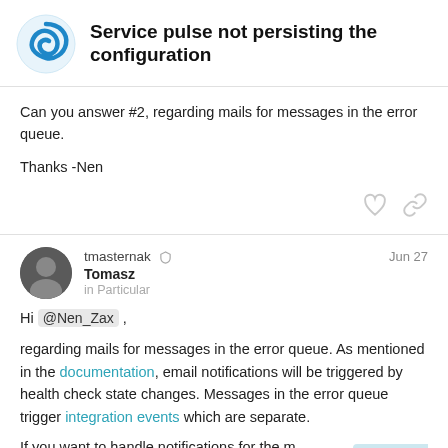Service pulse not persisting the configuration
Can you answer #2, regarding mails for messages in the error queue.

Thanks -Nen
tmasternak Tomasz in Particular Jun 27
Hi @Nen_Zax ,

regarding mails for messages in the error queue. As mentioned in the documentation, email notifications will be triggered by health check state changes. Messages in the error queue trigger integration events which are separate.

If you want to handle notifications for the m... queue, you will need to set up a dedicated...
5 / 7